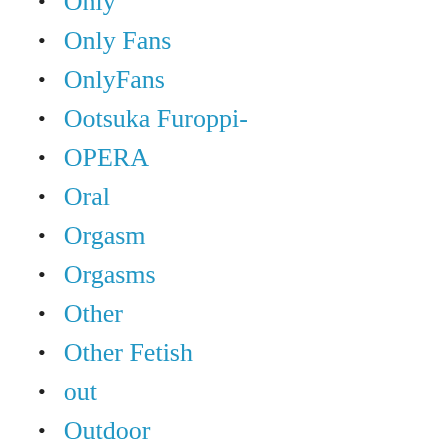Only
Only Fans
OnlyFans
Ootsuka Furoppi-
OPERA
Oral
Orgasm
Orgasms
Other
Other Fetish
out
Outdoor
Outdoor Pooping
Outdoor Scat Orgy
Outdoor Shitting Porn
Outdoors
Outro